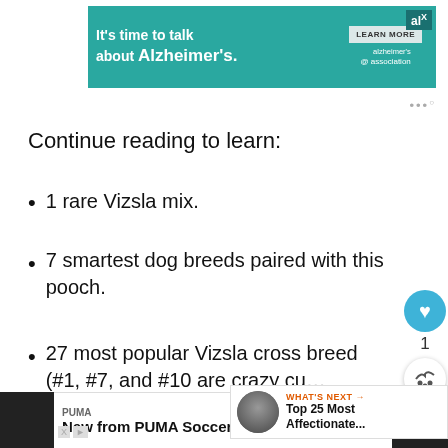[Figure (other): Alzheimer's Association advertisement banner: teal background with text 'It's time to talk about Alzheimer's.' and a 'LEARN MORE' button and the Alzheimer's association logo.]
Continue reading to learn:
1 rare Vizsla mix.
7 smartest dog breeds paired with this pooch.
27 most popular Vizsla cross breeds. (#1, #7, and #10 are crazy cu…
And many more…
[Figure (other): Bottom advertisement bar: PUMA brand, 'New from PUMA Soccer' with a blue 'SHOP NOW' button.]